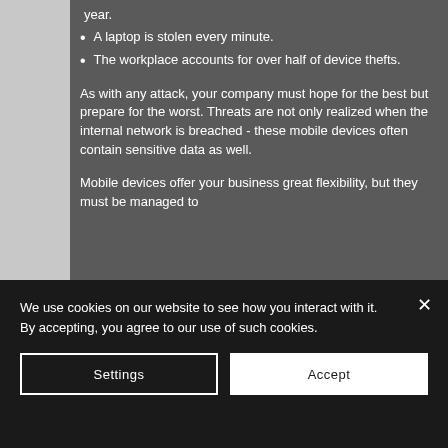year.
A laptop is stolen every minute.
The workplace accounts for over half of device thefts.
As with any attack, your company must hope for the best but prepare for the worst. Threats are not only realized when the internal network is breached - these mobile devices often contain sensitive data as well.
Mobile devices offer your business great flexibility, but they must be managed to
[Figure (screenshot): Cookie consent banner overlay on a webpage. Dark background with text: 'We use cookies on our website to see how you interact with it. By accepting, you agree to our use of such cookies.' Two buttons: Settings (outlined) and Accept (filled white). Close X button top right.]